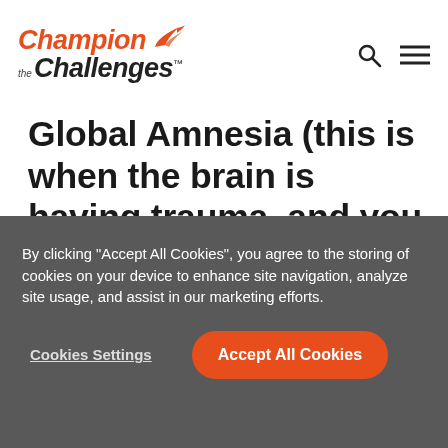[Figure (logo): Champion the Challenges logo with orange bird/hummingbird icon, orange italic 'Champion' text, and black italic 'the Challenges' text]
Global Amnesia (this is when the brain is having trauma, and you experience short term memory loss).  During Covid it was scary and isolated. I needed to see Barbara. I missed my farm and 5 dogs. I couldn’t wait to go home
By clicking “Accept All Cookies”, you agree to the storing of cookies on your device to enhance site navigation, analyze site usage, and assist in our marketing efforts.
Cookies Settings
Accept All Cookies